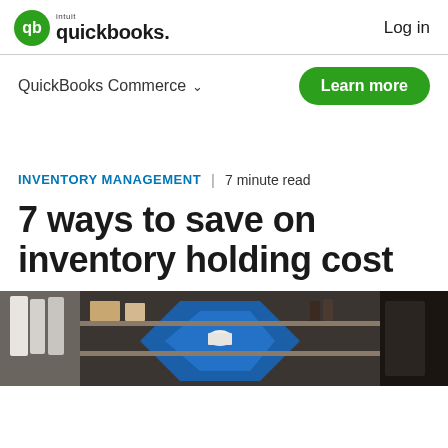intuit quickbooks. | Log in
QuickBooks Commerce ∨
Learn more
INVENTORY MANAGEMENT | 7 minute read
7 ways to save on inventory holding cost
[Figure (photo): Interior of a retail stock room or warehouse with shelves holding clothing, boxes, and various items. Blue triangular shape visible on shelving unit.]